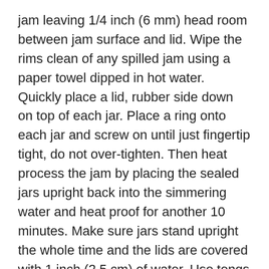jam leaving 1/4 inch (6 mm) head room between jam surface and lid. Wipe the rims clean of any spilled jam using a paper towel dipped in hot water. Quickly place a lid, rubber side down on top of each jar. Place a ring onto each jar and screw on until just fingertip tight, do not over-tighten. Then heat process the jam by placing the sealed jars upright back into the simmering water and heat proof for another 10 minutes. Make sure jars stand upright the whole time and the lids are covered with 1 inch (2.5 cm) of water. Use tongs to remove processed jars, making sure to continue keeping them upright. Transfer them to a clean towel-lined surface where they can sit undisturbed 12 to 24 hours. Lids may make a popping sound as the jars cool, this is a sign of an airtight seal. Test the seals 24 hours after heat processing by pressing down on the center of each lid with your finger. If the lid does not move